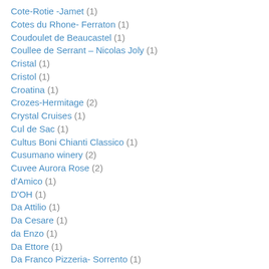Cote-Rotie -Jamet (1)
Cotes du Rhone- Ferraton (1)
Coudoulet de Beaucastel (1)
Coullee de Serrant – Nicolas Joly (1)
Cristal (1)
Cristol (1)
Croatina (1)
Crozes-Hermitage (2)
Crystal Cruises (1)
Cul de Sac (1)
Cultus Boni Chianti Classico (1)
Cusumano winery (2)
Cuvee Aurora Rose (2)
d'Amico (1)
D'OH (1)
Da Attilio (1)
Da Cesare (1)
da Enzo (1)
Da Ettore (1)
Da Franco Pizzeria- Sorrento (1)